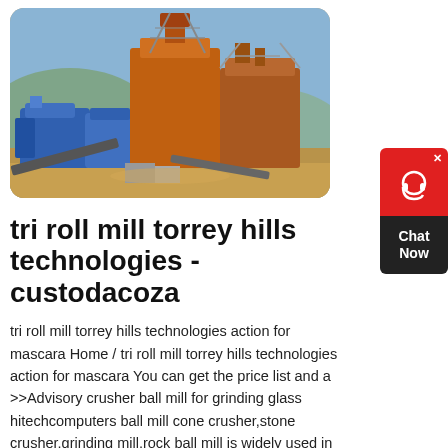[Figure (photo): Industrial mining/crushing machinery with blue and orange/rust colored equipment on a dirt terrain with hills and sky in background]
tri roll mill torrey hills technologies - custodacoza
tri roll mill torrey hills technologies action for mascara Home / tri roll mill torrey hills technologies action for mascara You can get the price list and a >>Advisory crusher ball mill for grinding glass hitechcomputers ball mill cone crusher,stone crusher,grinding mill,rock ball mill is widely used in powder making production line in ,...
apprendre encore plus
[Figure (screenshot): Partial blue/purple image preview at bottom]